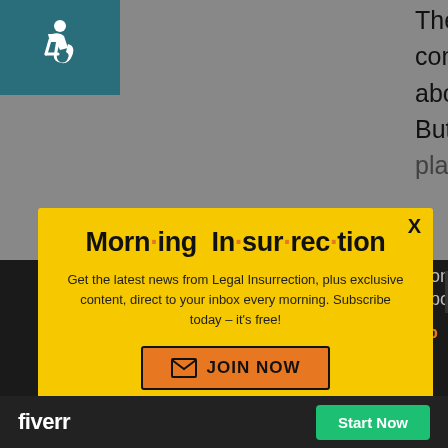[Figure (screenshot): Background page with accessibility icon (wheelchair user on teal background) in top-left, and partial text content visible behind modal overlay]
The point of my comment was only about Flynn's kid. But, you insist on playing straw man vs
[Figure (infographic): Yellow modal popup for Morning Insurrection newsletter subscription with title, description text, and JOIN NOW orange button with envelope icon]
Morn·ing In·sur·rec·tion
Get the latest news from Legal Insurrection, plus exclusive content, direct to your inbox every morning. Subscribe today – it's free!
JOIN NOW
only pointless...
Back to top
[Figure (screenshot): Fiverr advertisement bar at bottom with fiverr logo and Start Now green button]
fiverr
Start Now